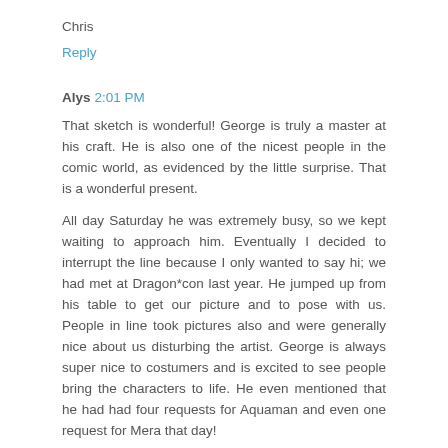Chris
Reply
Alys  2:01 PM
That sketch is wonderful! George is truly a master at his craft. He is also one of the nicest people in the comic world, as evidenced by the little surprise. That is a wonderful present.
All day Saturday he was extremely busy, so we kept waiting to approach him. Eventually I decided to interrupt the line because I only wanted to say hi; we had met at Dragon*con last year. He jumped up from his table to get our picture and to pose with us. People in line took pictures also and were generally nice about us disturbing the artist. George is always super nice to costumers and is excited to see people bring the characters to life. He even mentioned that he had had four requests for Aquaman and even one request for Mera that day!